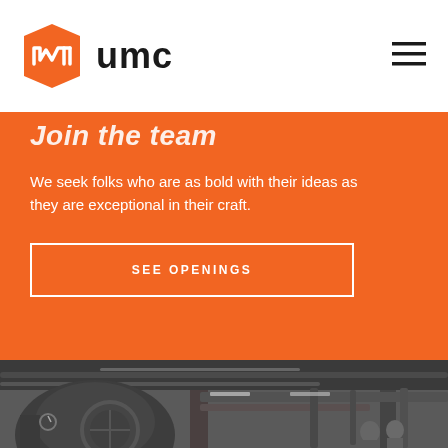umc
Join the team
We seek folks who are as bold with their ideas as they are exceptional in their craft.
SEE OPENINGS
[Figure (photo): Black and white industrial interior photo showing mechanical piping, ductwork on ceiling, large machinery/boiler equipment, and workers in background]